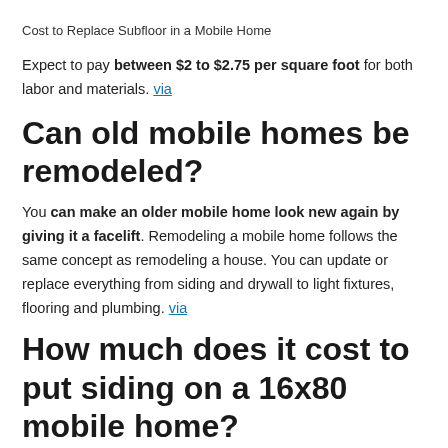Cost to Replace Subfloor in a Mobile Home
Expect to pay between $2 to $2.75 per square foot for both labor and materials. via
Can old mobile homes be remodeled?
You can make an older mobile home look new again by giving it a facelift. Remodeling a mobile home follows the same concept as remodeling a house. You can update or replace everything from siding and drywall to light fixtures, flooring and plumbing. via
How much does it cost to put siding on a 16x80 mobile home?
How much does it cost to put siding on a 16x80 mobile home?